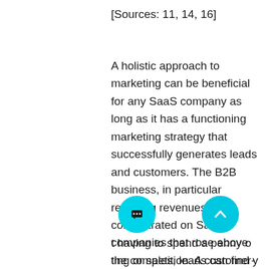[Sources: 11, 14, 16]
A holistic approach to marketing can be beneficial for any SaaS company as long as it has a functioning marketing strategy that successfully generates leads and customers. The B2B business, in particular recurring revenues, was concentrated on SaaS companies that rose above the competition. A customer-oriented marketing strategy helps them to meet changing expectations, increase profitability, and keep sales at full volume. [Sources: 4, 21]
t having to spend a penny o ting or sales, leads can find y SaaS business and become customers